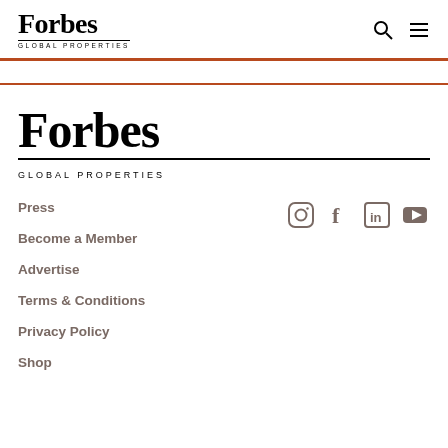Forbes Global Properties
[Figure (logo): Forbes Global Properties logo - large footer version]
Press
Become a Member
Advertise
Terms & Conditions
Privacy Policy
Shop